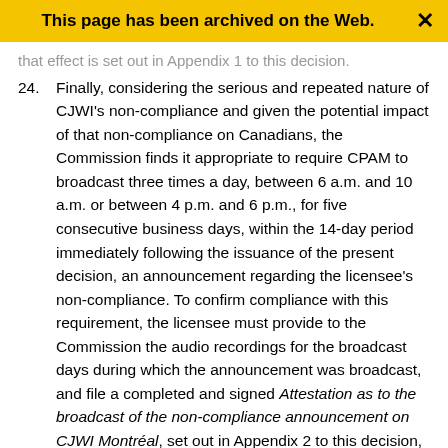This page has been archived on the Web.
that effect is set out in Appendix 1 to this decision.
24. Finally, considering the serious and repeated nature of CJWI's non-compliance and given the potential impact of that non-compliance on Canadians, the Commission finds it appropriate to require CPAM to broadcast three times a day, between 6 a.m. and 10 a.m. or between 4 p.m. and 6 p.m., for five consecutive business days, within the 14-day period immediately following the issuance of the present decision, an announcement regarding the licensee's non-compliance. To confirm compliance with this requirement, the licensee must provide to the Commission the audio recordings for the broadcast days during which the announcement was broadcast, and file a completed and signed Attestation as to the broadcast of the non-compliance announcement on CJWI Montréal, set out in Appendix 2 to this decision, by no later than 14 days following the final broadcast